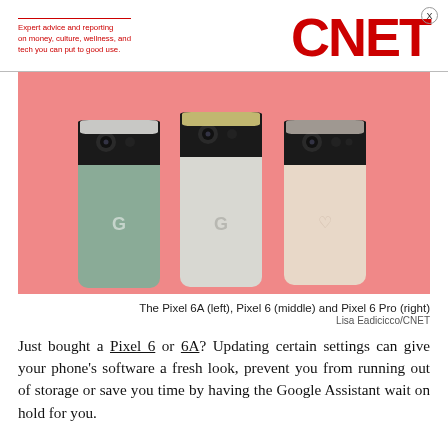Expert advice and reporting on money, culture, wellness, and tech you can put to good use. CNET
[Figure (photo): Three Google Pixel smartphones shown from the back against a pink background: Pixel 6A (sage green, left), Pixel 6 (white/gray, middle), and Pixel 6 Pro (coral/cream, right), each with a black camera bar across the top.]
The Pixel 6A (left), Pixel 6 (middle) and Pixel 6 Pro (right)
Lisa Eadicicco/CNET
Just bought a Pixel 6 or 6A? Updating certain settings can give your phone's software a fresh look, prevent you from running out of storage or save you time by having the Google Assistant wait on hold for you.